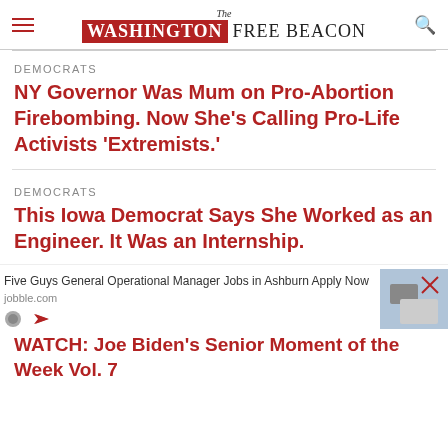The Washington Free Beacon
DEMOCRATS
NY Governor Was Mum on Pro-Abortion Firebombing. Now She's Calling Pro-Life Activists 'Extremists.'
DEMOCRATS
This Iowa Democrat Says She Worked as an Engineer. It Was an Internship.
Five Guys General Operational Manager Jobs in Ashburn Apply Now jobble.com
WATCH: Joe Biden's Senior Moment of the Week Vol. 7